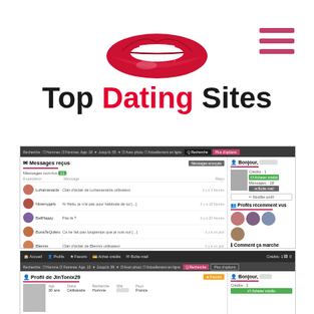[Figure (logo): Top Dating Sites logo with red lips illustration and hamburger menu icon]
[Figure (screenshot): Website screenshot showing messaging inbox interface with user messages list and sidebar profile]
[Figure (screenshot): Website screenshot showing user profile page JinTonix29 with navigation bar and search filters]